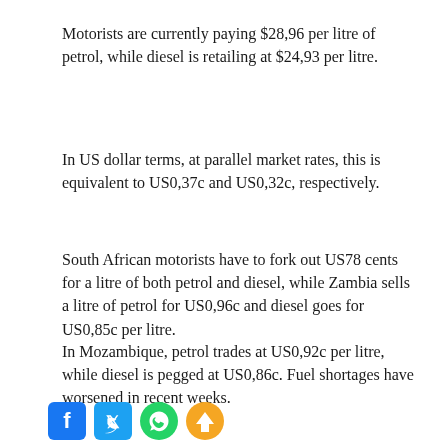Motorists are currently paying $28,96 per litre of petrol, while diesel is retailing at $24,93 per litre.
In US dollar terms, at parallel market rates, this is equivalent to US0,37c and US0,32c, respectively.
South African motorists have to fork out US78 cents for a litre of both petrol and diesel, while Zambia sells a litre of petrol for US0,96c and diesel goes for US0,85c per litre.
In Mozambique, petrol trades at US0,92c per litre, while diesel is pegged at US0,86c. Fuel shortages have worsened in recent weeks.
[Figure (other): Social media sharing icons: Facebook (blue), Twitter (light blue), WhatsApp (green), Telegram (orange)]